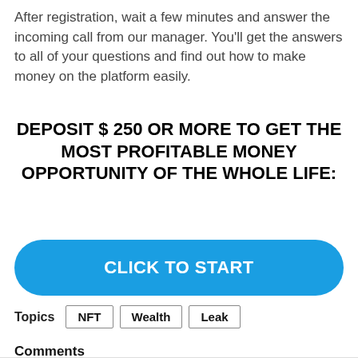After registration, wait a few minutes and answer the incoming call from our manager. You'll get the answers to all of your questions and find out how to make money on the platform easily.
DEPOSIT $ 250 OR MORE TO GET THE MOST PROFITABLE MONEY OPPORTUNITY OF THE WHOLE LIFE:
[Figure (other): Blue rounded rectangle button with white bold text reading CLICK TO START]
Topics  NFT  Wealth  Leak
Comments